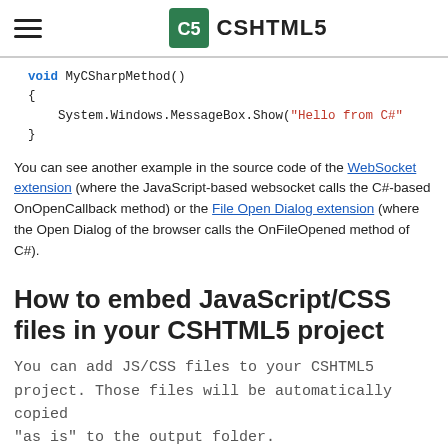CSHTML5
void MyCSharpMethod()
{
    System.Windows.MessageBox.Show("Hello from C#"
}
You can see another example in the source code of the WebSocket extension (where the JavaScript-based websocket calls the C#-based OnOpenCallback method) or the File Open Dialog extension (where the Open Dialog of the browser calls the OnFileOpened method of C#).
How to embed JavaScript/CSS files in your CSHTML5 project
You can add JS/CSS files to your CSHTML5 project. Those files will be automatically copied "as is" to the output folder.
You can then load them by calling